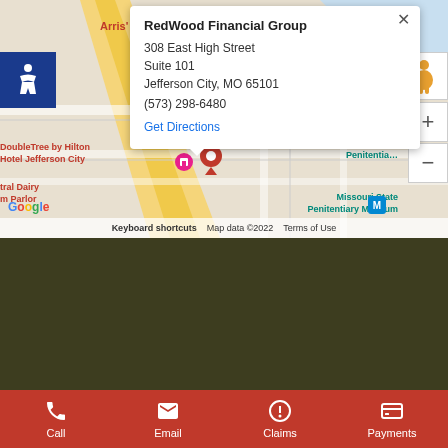[Figure (screenshot): Google Maps screenshot showing location of RedWood Financial Group at 308 East High Street, Suite 101, Jefferson City, MO 65101 with an info popup overlay showing address and phone number (573) 298-6480 and a Get Directions link. Map shows surrounding area including DoubleTree by Hilton Hotel Jefferson City, Missouri State Penitentiary Museum, Arris Pizza, and other landmarks.]
RedWood Financial Group
308 East High Street
Suite 101
Jefferson City, MO 65101
(573) 298-6480
Get Directions
Connect With Us
[Figure (logo): Facebook logo circle icon]
[Figure (logo): Instagram logo circle icon]
[Figure (logo): LinkedIn logo circle icon]
[Figure (logo): Facebook Messenger chat bubble icon]
Call  Email  Claims  Payments